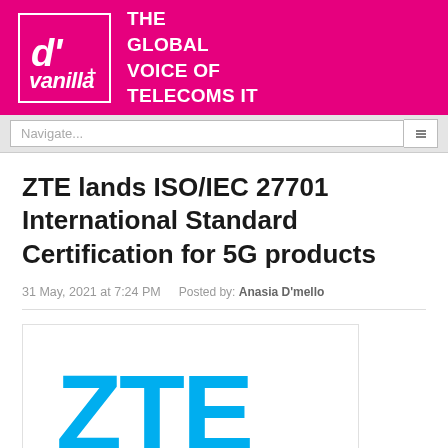THE GLOBAL VOICE OF TELECOMS IT
ZTE lands ISO/IEC 27701 International Standard Certification for 5G products
31 May, 2021 at 7:24 PM   Posted by: Anasia D'mello
[Figure (logo): ZTE company logo in blue letters on white background, partially visible]